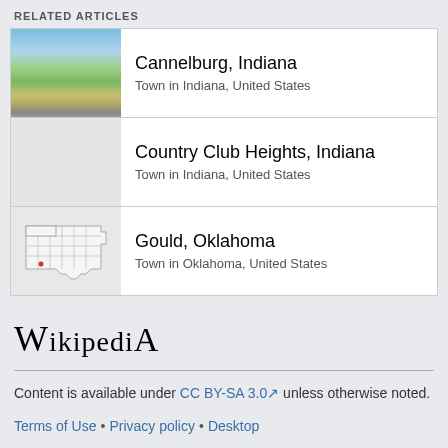RELATED ARTICLES
Cannelburg, Indiana
Town in Indiana, United States
Country Club Heights, Indiana
Town in Indiana, United States
Gould, Oklahoma
Town in Oklahoma, United States
[Figure (logo): Wikipedia wordmark logo]
Content is available under CC BY-SA 3.0 unless otherwise noted.
Terms of Use • Privacy policy • Desktop